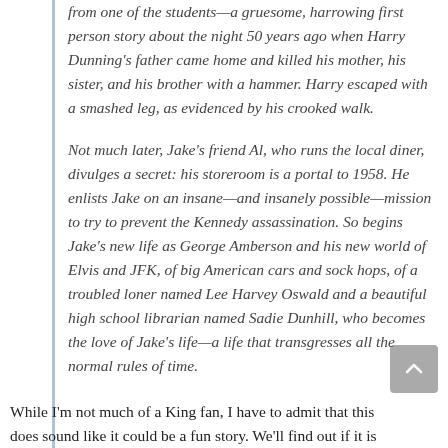from one of the students—a gruesome, harrowing first person story about the night 50 years ago when Harry Dunning's father came home and killed his mother, his sister, and his brother with a hammer. Harry escaped with a smashed leg, as evidenced by his crooked walk.

Not much later, Jake's friend Al, who runs the local diner, divulges a secret: his storeroom is a portal to 1958. He enlists Jake on an insane—and insanely possible—mission to try to prevent the Kennedy assassination. So begins Jake's new life as George Amberson and his new world of Elvis and JFK, of big American cars and sock hops, of a troubled loner named Lee Harvey Oswald and a beautiful high school librarian named Sadie Dunhill, who becomes the love of Jake's life—a life that transgresses all the normal rules of time.
While I'm not much of a King fan, I have to admit that this does sound like it could be a fun story. We'll find out if it is